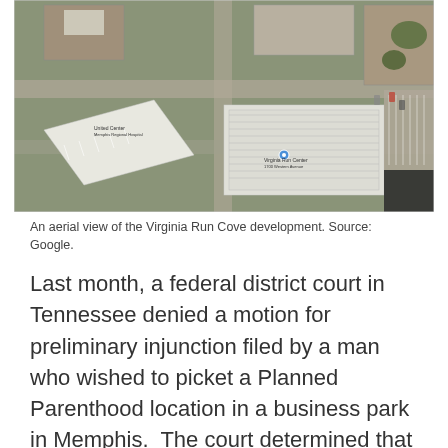[Figure (photo): Aerial satellite view of the Virginia Run Cove development, showing buildings, parking lots, and surrounding streets. Source: Google.]
An aerial view of the Virginia Run Cove development. Source: Google.
Last month, a federal district court in Tennessee denied a motion for preliminary injunction filed by a man who wished to picket a Planned Parenthood location in a business park in Memphis.  The court determined that the private street on which the plaintiff, John Brindley, intended to picket was not a public roadway and therefore was not a traditional public forum requiring content neutral speech regulations.